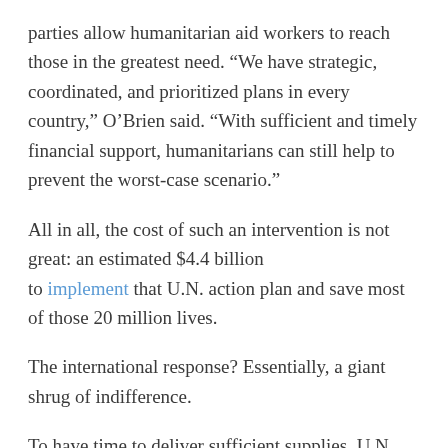parties allow humanitarian aid workers to reach those in the greatest need. “We have strategic, coordinated, and prioritized plans in every country,” O’Brien said. “With sufficient and timely financial support, humanitarians can still help to prevent the worst-case scenario.”
All in all, the cost of such an intervention is not great: an estimated $4.4 billion to implement that U.N. action plan and save most of those 20 million lives.
The international response? Essentially, a giant shrug of indifference.
To have time to deliver sufficient supplies, U.N. officials indicated that the money would need to be in pocket by the end of March. It’s now